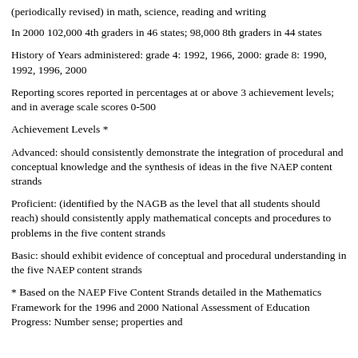(periodically revised) in math, science, reading and writing
In 2000 102,000 4th graders in 46 states; 98,000 8th graders in 44 states
History of Years administered: grade 4: 1992, 1966, 2000: grade 8: 1990, 1992, 1996, 2000
Reporting scores reported in percentages at or above 3 achievement levels; and in average scale scores 0-500
Achievement Levels *
Advanced: should consistently demonstrate the integration of procedural and conceptual knowledge and the synthesis of ideas in the five NAEP content strands
Proficient: (identified by the NAGB as the level that all students should reach) should consistently apply mathematical concepts and procedures to problems in the five content strands
Basic: should exhibit evidence of conceptual and procedural understanding in the five NAEP content strands
* Based on the NAEP Five Content Strands detailed in the Mathematics Framework for the 1996 and 2000 National Assessment of Education Progress: Number sense; properties and